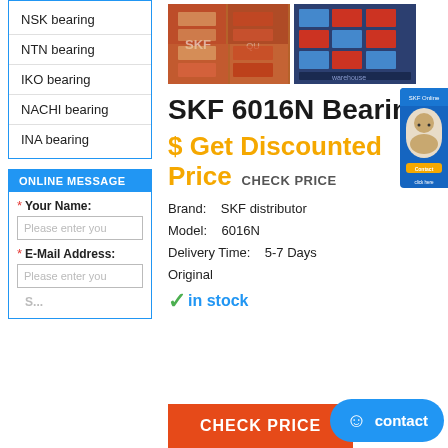NSK bearing
NTN bearing
IKO bearing
NACHI bearing
INA bearing
ONLINE MESSAGE
* Your Name:
Please enter you
* E-Mail Address:
Please enter you
[Figure (photo): Warehouse shelves stocked with SKF bearing boxes — two photos side by side]
SKF 6016N Bearing
$ Get Discounted Price  CHECK PRICE
Brand:    SKF distributor
Model:    6016N
Delivery Time:    5-7 Days
Original
✓in stock
CHECK PRICE
contact